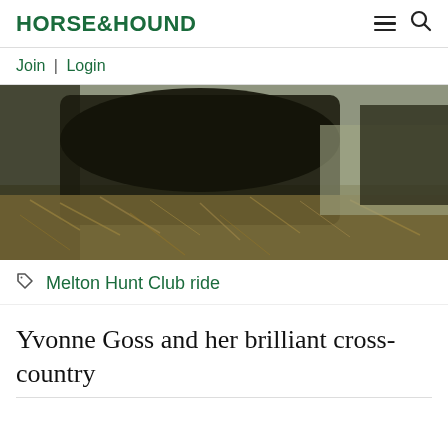HORSE&HOUND
Join | Login
[Figure (photo): Close-up photograph of a dark horse jumping or moving through undergrowth/brush, shot from a low angle with a blurred outdoor background]
Melton Hunt Club ride
Yvonne Goss and her brilliant cross-country